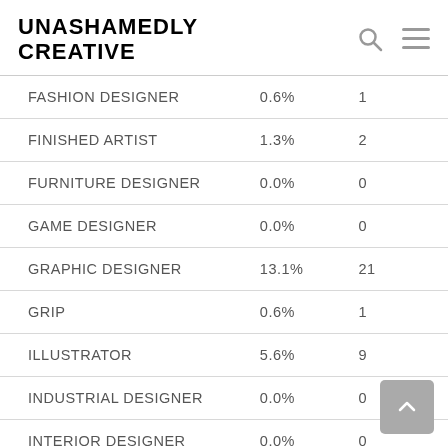UNASHAMEDLY CREATIVE
|  |  |  |
| --- | --- | --- |
| FASHION DESIGNER | 0.6% | 1 |
| FINISHED ARTIST | 1.3% | 2 |
| FURNITURE DESIGNER | 0.0% | 0 |
| GAME DESIGNER | 0.0% | 0 |
| GRAPHIC DESIGNER | 13.1% | 21 |
| GRIP | 0.6% | 1 |
| ILLUSTRATOR | 5.6% | 9 |
| INDUSTRIAL DESIGNER | 0.0% | 0 |
| INTERIOR DESIGNER | 0.0% | 0 |
| JEWELLERY DESIGNER | 0.0% | 0 |